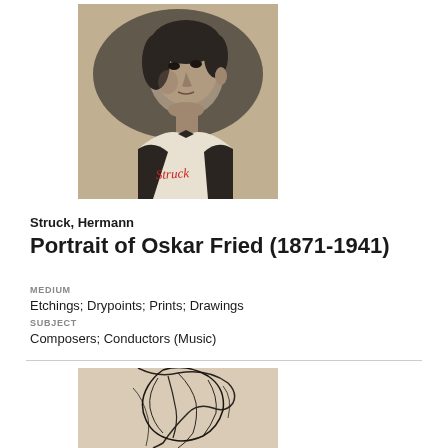[Figure (photo): Black and white etching portrait of a man, head and shoulders, facing slightly right, with a red ink signature at the bottom reading 'Struck', on aged paper background.]
Struck, Hermann
Portrait of Oskar Fried (1871-1941)
MEDIUM
Etchings; Drypoints; Prints; Drawings
SUBJECT
Composers; Conductors (Music)
[Figure (illustration): Partial view of a sketch/drawing showing a figure with flowing hair, cropped at the bottom of the page.]